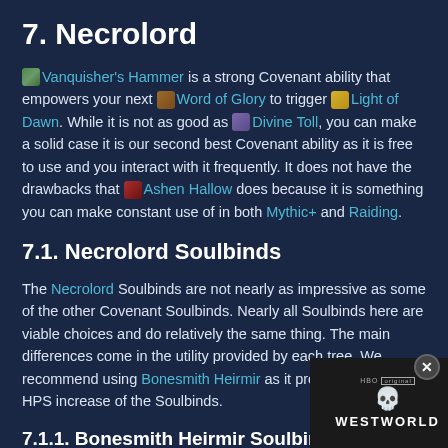7. Necrolord
Vanquisher's Hammer is a strong Covenant ability that empowers your next Word of Glory to trigger Light of Dawn. While it is not as good as Divine Toll, you can make a solid case it is our second best Covenant ability as it is free to use and you interact with it frequently. It does not have the drawbacks that Ashen Hallow does because it is something you can make constant use of in both Mythic+ and Raiding.
7.1. Necrolord Soulbinds
The Necrolord Soulbinds are not nearly as impressive as some of the other Covenant Soulbinds. Nearly all Soulbinds here are viable choices and do relatively the same thing. The main differences come in the utility provided by each tree. We recommend using Bonesmith Heirmir as it provides the highest HPS increase of the Soulbinds.
7.1.1. Bonesmith Heirmir Soulbind
Below i
[Figure (photo): Westworld HBO Max advertisement banner with skull imagery and promotional text 'SEE THE BATTLE FOR THE FUTURE HBOMAX SIGN UP NOW PLANS START AT $9.99/MONTH']